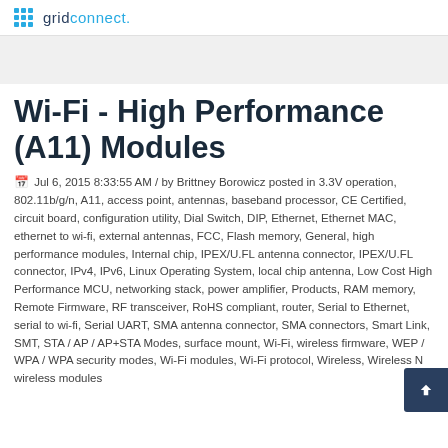gridconnect.
Wi-Fi - High Performance (A11) Modules
Jul 6, 2015 8:33:55 AM / by Brittney Borowicz posted in 3.3V operation, 802.11b/g/n, A11, access point, antennas, baseband processor, CE Certified, circuit board, configuration utility, Dial Switch, DIP, Ethernet, Ethernet MAC, ethernet to wi-fi, external antennas, FCC, Flash memory, General, high performance modules, Internal chip, IPEX/U.FL antenna connector, IPEX/U.FL connector, IPv4, IPv6, Linux Operating System, local chip antenna, Low Cost High Performance MCU, networking stack, power amplifier, Products, RAM memory, Remote Firmware, RF transceiver, RoHS compliant, router, Serial to Ethernet, serial to wi-fi, Serial UART, SMA antenna connector, SMA connectors, Smart Link, SMT, STA / AP / AP+STA Modes, surface mount, Wi-Fi, wireless firmware, WEP / WPA / WPA security modes, Wi-Fi modules, Wi-Fi protocol, Wireless, Wireless N wireless modules